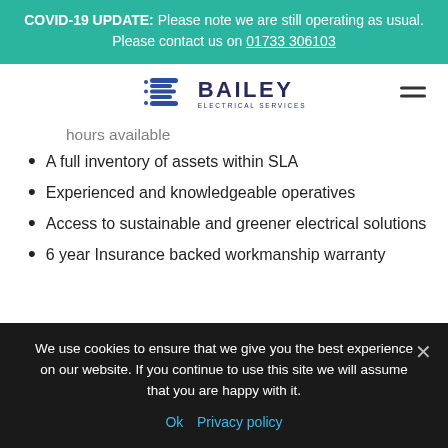COVID-19 UPDATE: Please note we are still operating as usual. Please contact us on 01733 306103
[Figure (logo): Bailey Electrical Services logo — blue stylized letter B with horizontal lines, text BAILEY ELECTRICAL SERVICES]
hours available
A full inventory of assets within SLA
Experienced and knowledgeable operatives
Access to sustainable and greener electrical solutions
6 year Insurance backed workmanship warranty
We use cookies to ensure that we give you the best experience on our website. If you continue to use this site we will assume that you are happy with it. Ok  Privacy policy